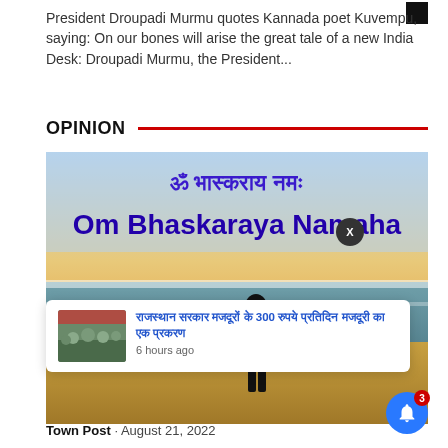President Droupadi Murmu quotes Kannada poet Kuvempu, saying: On our bones will arise the great tale of a new India Desk: Droupadi Murmu, the President...
OPINION
[Figure (photo): An image showing a person silhouetted against a beach/sea background with Sanskrit text 'ॐ भास्कराय नमः' and transliteration 'Om Bhaskaraya Namaha' in large purple/blue lettering above.]
[Figure (photo): Popup overlay showing a crowd photo thumbnail with Hindi text headline and '6 hours ago' timestamp]
o validate
Town Post · August 21, 2022